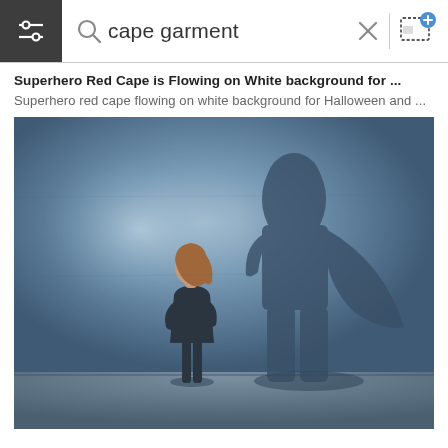[Figure (screenshot): Mobile image search interface showing search bar with 'cape garment' query, filter/settings icon on left, search icon, X close button, and image upload icon on right]
Superhero Red Cape is Flowing on White background for ...
Superhero red cape flowing on white background for Halloween and ...
[Figure (photo): A businesswoman in dark suit stands looking up at her large superhero shadow on a blue-grey textured wall. The shadow shows her with a flowing cape and hands on hips, suggesting inner power and ambition.]